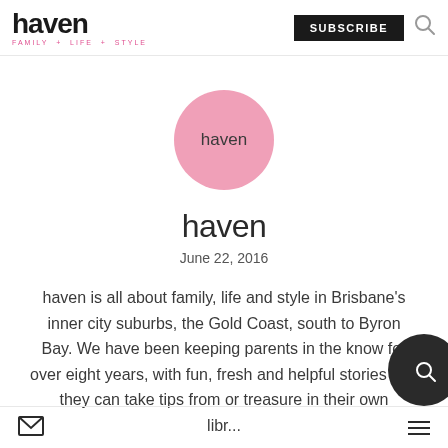haven | FAMILY + LIFE + STYLE | SUBSCRIBE
[Figure (logo): Pink circle with 'haven' text in center — profile avatar]
haven
June 22, 2016
haven is all about family, life and style in Brisbane's inner city suburbs, the Gold Coast, south to Byron Bay. We have been keeping parents in the know for over eight years, with fun, fresh and helpful stories that they can take tips from or treasure in their own libr...
mail icon | hamburger menu